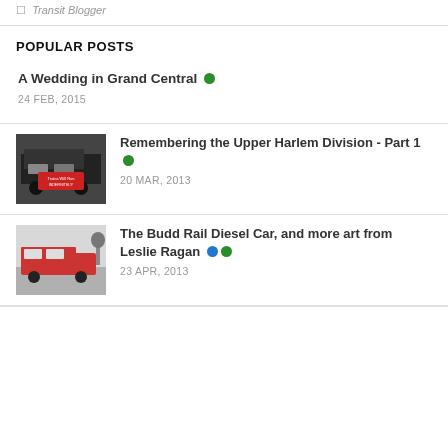Transit Blogger
POPULAR POSTS
A Wedding in Grand Central • 24 FEB, 2015
Remembering the Upper Harlem Division - Part 1 • 20 MAR, 2013
The Budd Rail Diesel Car, and more art from Leslie Ragan • 23 APR, 2013